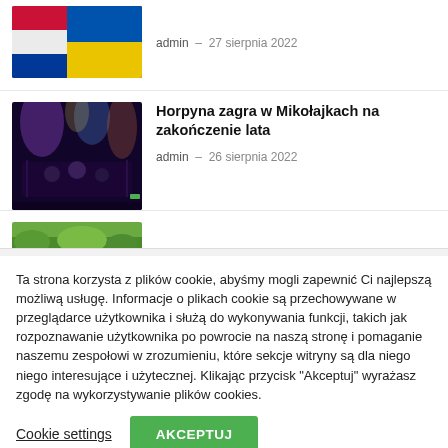[Figure (photo): Partially visible article with flags image (Polish and Ukrainian flags)]
admin – 27 sierpnia 2022
[Figure (photo): Concert photo with stage lights and performers, Horpyna band]
Horpyna zagra w Mikołajkach na zakończenie lata
admin – 26 sierpnia 2022
[Figure (photo): Partially visible green outdoor photo]
Ta strona korzysta z plików cookie, abyśmy mogli zapewnić Ci najlepszą możliwą usługę. Informacje o plikach cookie są przechowywane w przeglądarce użytkownika i służą do wykonywania funkcji, takich jak rozpoznawanie użytkownika po powrocie na naszą stronę i pomaganie naszemu zespołowi w zrozumieniu, które sekcje witryny są dla niego niego interesujące i użytecznej. Klikając przycisk "Akceptuj" wyrażasz zgodę na wykorzystywanie plików cookies.
Cookie settings
AKCEPTUJ